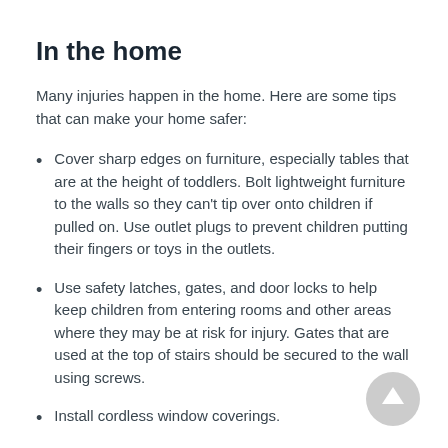In the home
Many injuries happen in the home. Here are some tips that can make your home safer:
Cover sharp edges on furniture, especially tables that are at the height of toddlers. Bolt lightweight furniture to the walls so they can't tip over onto children if pulled on. Use outlet plugs to prevent children putting their fingers or toys in the outlets.
Use safety latches, gates, and door locks to help keep children from entering rooms and other areas where they may be at risk for injury. Gates that are used at the top of stairs should be secured to the wall using screws.
Install cordless window coverings.